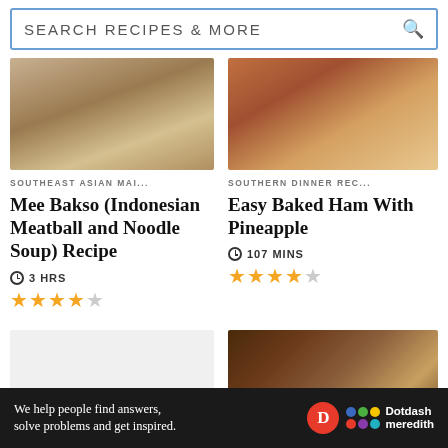SEARCH RECIPES & MORE
[Figure (photo): Bowl of noodle soup with meatballs and vegetables - Mee Bakso]
SOUTHEAST ASIAN MAI...
Mee Bakso (Indonesian Meatball and Noodle Soup) Recipe
3 HRS
★★★★☆ (3.5 stars)
[Figure (photo): Baked ham with pineapple on a white plate]
SOUTHERN DINNER REC...
Easy Baked Ham With Pineapple
107 MINS
★★★★☆ (4 stars)
[Figure (photo): Light gray placeholder image for recipe card]
[Figure (photo): Sweet potato casserole in a white bowl on a dark wood table with sauce - Ad]
We help people find answers, solve problems and get inspired. Dotdash meredith